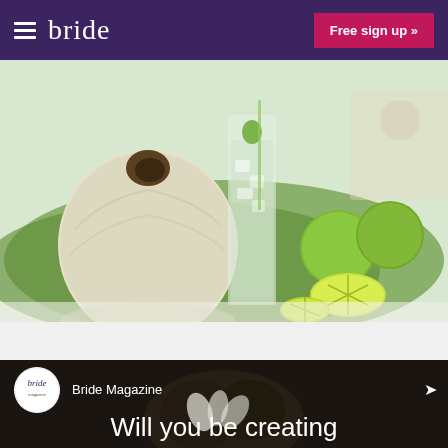bride | Free sign up »
[Figure (photo): A whole coconut and a tall glass of clear drink with lime, placed on a green leaf, with limes and a cut lime around them on a table.]
[Figure (screenshot): A video thumbnail from Bride Magazine showing a dark background with white flowers and text 'Will you be creating...' with the Bride Magazine logo and channel name visible at top.]
Will you be creating